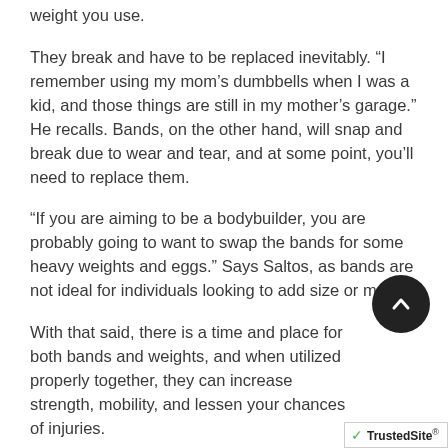weight you use.
They break and have to be replaced inevitably. “I remember using my mom’s dumbbells when I was a kid, and those things are still in my mother’s garage.” He recalls. Bands, on the other hand, will snap and break due to wear and tear, and at some point, you’ll need to replace them.
“If you are aiming to be a bodybuilder, you are probably going to want to swap the bands for some heavy weights and eggs.” Says Saltos, as bands are not ideal for individuals looking to add size or mass.
With that said, there is a time and place for both bands and weights, and when utilized properly together, they can increase strength, mobility, and lessen your chances of injuries.
Train with Danny Using Buckleband